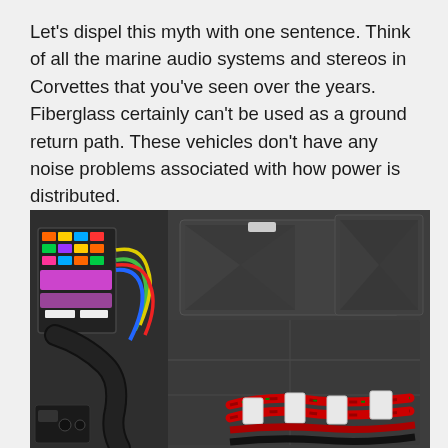Let's dispel this myth with one sentence. Think of all the marine audio systems and stereos in Corvettes that you've seen over the years. Fiberglass certainly can't be used as a ground return path. These vehicles don't have any noise problems associated with how power is distributed.
[Figure (photo): Close-up photograph of a vehicle engine bay or trunk area showing a fuse/relay box with colorful wiring on the left side, black wiring loom, and red/black power cables secured with white zip ties/cable clips running across dark molded plastic panels.]